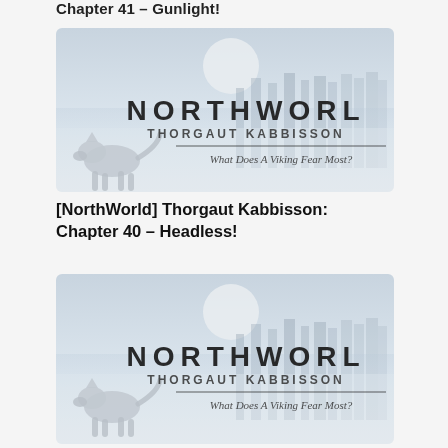Chapter 41 – Gunlight!
[Figure (illustration): Book cover for NorthWorld by Thorgaut Kabbisson. Shows a wolf against a misty forest background with moon. Text reads: NORTHWORLD, THORGAUT KABBISSON, What Does A Viking Fear Most?]
[NorthWorld] Thorgaut Kabbisson: Chapter 40 – Headless!
[Figure (illustration): Book cover for NorthWorld by Thorgaut Kabbisson. Shows a wolf against a misty forest background with moon. Text reads: NORTHWORLD, THORGAUT KABBISSON, What Does A Viking Fear Most?]